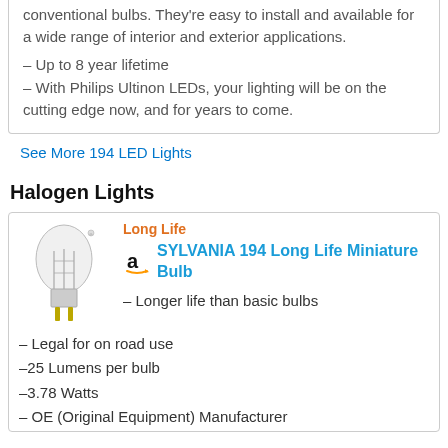conventional bulbs. They're easy to install and available for a wide range of interior and exterior applications.
– Up to 8 year lifetime
– With Philips Ultinon LEDs, your lighting will be on the cutting edge now, and for years to come.
See More 194 LED Lights
Halogen Lights
[Figure (photo): Clear miniature halogen wedge bulb]
Long Life
SYLVANIA 194 Long Life Miniature Bulb
– Longer life than basic bulbs
– Legal for on road use
–25 Lumens per bulb
–3.78 Watts
– OE (Original Equipment) Manufacturer